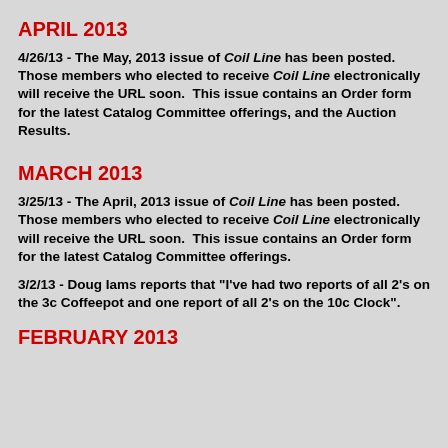APRIL 2013
4/26/13 - The May, 2013 issue of Coil Line has been posted.  Those members who elected to receive Coil Line electronically will receive the URL soon.  This issue contains an Order form for the latest Catalog Committee offerings, and the Auction Results.
MARCH 2013
3/25/13 - The April, 2013 issue of Coil Line has been posted.  Those members who elected to receive Coil Line electronically will receive the URL soon.  This issue contains an Order form for the latest Catalog Committee offerings.
3/2/13 - Doug Iams reports that "I've had two reports of all 2's on the 3c Coffeepot and one report of all 2's on the 10c Clock".
FEBRUARY 2013